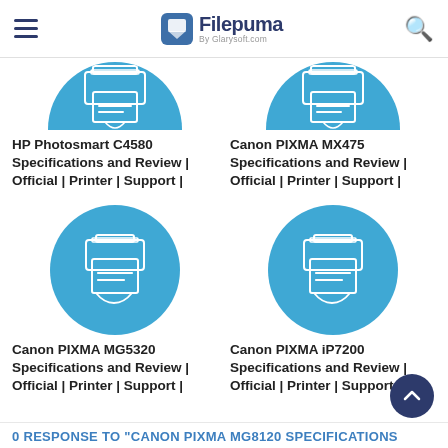Filepuma by Glarysoft.com
[Figure (illustration): Blue circular icon with printer illustration, top half visible — HP Photosmart C4580]
HP Photosmart C4580 Specifications and Review | Official | Printer | Support |
[Figure (illustration): Blue circular icon with printer illustration, top half visible — Canon PIXMA MX475]
Canon PIXMA MX475 Specifications and Review | Official | Printer | Support |
[Figure (illustration): Blue circular icon with printer illustration — Canon PIXMA MG5320]
Canon PIXMA MG5320 Specifications and Review | Official | Printer | Support |
[Figure (illustration): Blue circular icon with printer illustration — Canon PIXMA iP7200]
Canon PIXMA iP7200 Specifications and Review | Official | Printer | Support |
0 RESPONSE TO "CANON PIXMA MG8120 SPECIFICATIONS